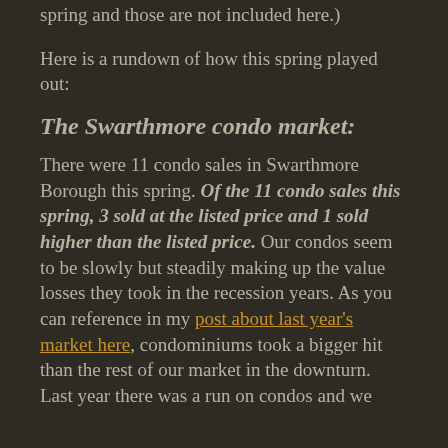spring and those are not included here.)
Here is a rundown of how this spring played out:
The Swarthmore condo market:
There were 11 condo sales in Swarthmore Borough this spring. Of the 11 condo sales this spring, 3 sold at the listed price and 1 sold higher than the listed price. Our condos seem to be slowly but steadily making up the value losses they took in the recession years. As you can reference in my post about last year's market here, condominiums took a bigger hit than the rest of our market in the downturn. Last year there was a run on condos and we